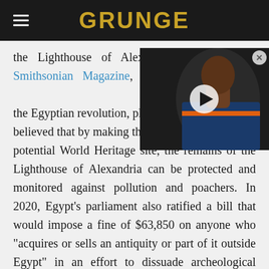GRUNGE
the Lighthouse of Alexandria. According to Smithsonian Magazine, although the plan was disrupted by the Egyptian revolution, plans ... believed that by making the site a potential World Heritage site, the remains of the Lighthouse of Alexandria can be protected and monitored against pollution and poachers. In 2020, Egypt's parliament also ratified a bill that would impose a fine of $63,850 on anyone who "acquires or sells an antiquity or part of it outside Egypt" in an effort to dissuade archeological poachers. There was also the hope that the museum could help revive tourism in Alexandria in addition to providing for the opportunity for further
[Figure (photo): Video overlay showing a basketball player, with a play button overlay and close button]